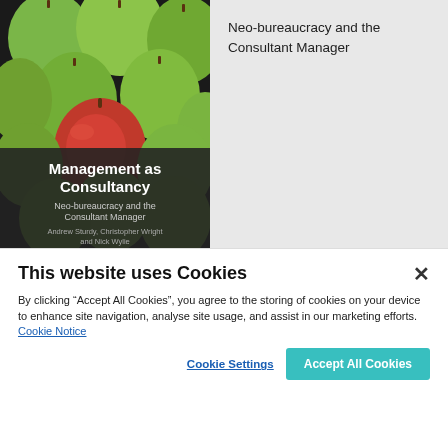[Figure (illustration): Book cover of 'Management as Consultancy: Neo-bureaucracy and the Consultant Manager' by Andrew Sturdy, Christopher Wright and Nick Wylie. Cover shows green apples with one red apple among them.]
Neo-bureaucracy and the Consultant Manager
This website uses Cookies
By clicking “Accept All Cookies”, you agree to the storing of cookies on your device to enhance site navigation, analyse site usage, and assist in our marketing efforts.  Cookie Notice
Cookie Settings
Accept All Cookies